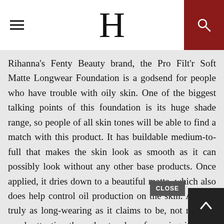H
Rihanna's Fenty Beauty brand, the Pro Filt'r Soft Matte Longwear Foundation is a godsend for people who have trouble with oily skin. One of the biggest talking points of this foundation is its huge shade range, so people of all skin tones will be able to find a match with this product. It has buildable medium-to-full that makes the skin look as smooth as it can possibly look without any other base products. Once applied, it dries down to a beautiful matte, which also does help control oil production on the skin. And it's truly as long-wearing as it claims to be, not needing much attention throughout a day of wearing it out in the world. One of the biggest difficulties with using this product is that it dries down very quickly during application, so one would have to work very fast to blend the product. Some people with drier skin